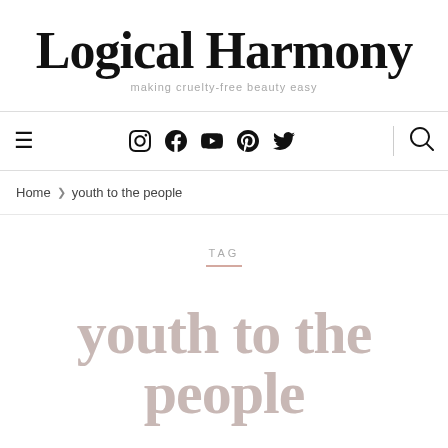Logical Harmony
making cruelty-free beauty easy
[Figure (screenshot): Navigation bar with hamburger menu on left, social media icons (Instagram, Facebook, YouTube, Pinterest, Twitter) in center, divider, and search icon on right]
Home > youth to the people
TAG
youth to the people